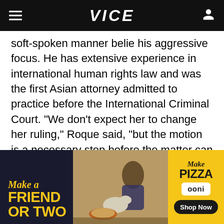VICE
soft-spoken manner belie his aggressive focus. He has extensive experience in international human rights law and was the first Asian attorney admitted to practice before the International Criminal Court. "We don't expect her to change her ruling," Roque said, "but the motion is a necessary step before the matter can be heard by the Philippine Supreme Court."
[Figure (illustration): Advertisement banner for Ooni pizza oven. Dark background on left with yellow text reading 'Make a FRIEND OR TWO'. Center shows a photo of people at a picnic with a dog and a pizza. Right side has yellow background with text 'Make PIZZA', 'ooni' in a white box, and 'Shop Now' button.]